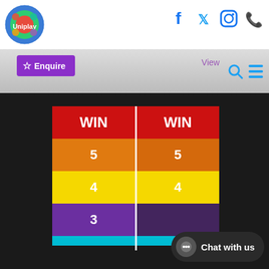Uniplay website header with logo, social icons (Facebook, Twitter, Instagram, Phone), search and menu icons
☆ Enquire
View details
[Figure (illustration): Game scoring grid on dark background showing two columns (left and right) with rows labeled WIN (red), 5 (orange), 4 (yellow), 3 (purple), and cyan at bottom. A white vertical line divides the two columns. A 'Chat with us' bubble is visible at bottom right.]